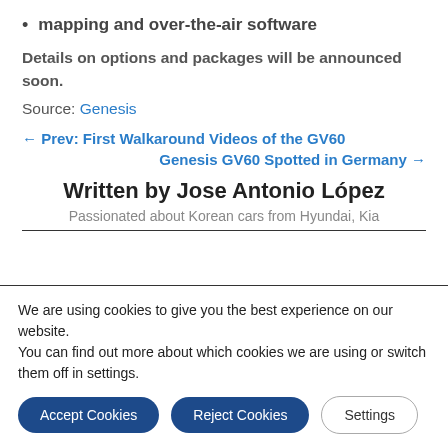mapping and over-the-air software
Details on options and packages will be announced soon.
Source: Genesis
← Prev: First Walkaround Videos of the GV60
Genesis GV60 Spotted in Germany →
Written by Jose Antonio López
Passionated about Korean cars from Hyundai, Kia
We are using cookies to give you the best experience on our website.
You can find out more about which cookies we are using or switch them off in settings.